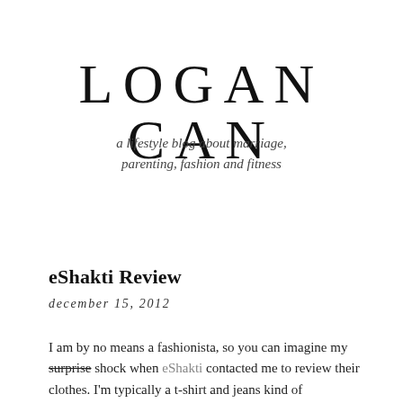LOGAN CAN
a lifestyle blog about marriage, parenting, fashion and fitness
eShakti Review
december 15, 2012
I am by no means a fashionista, so you can imagine my surprise shock when eShakti contacted me to review their clothes. I'm typically a t-shirt and jeans kind of